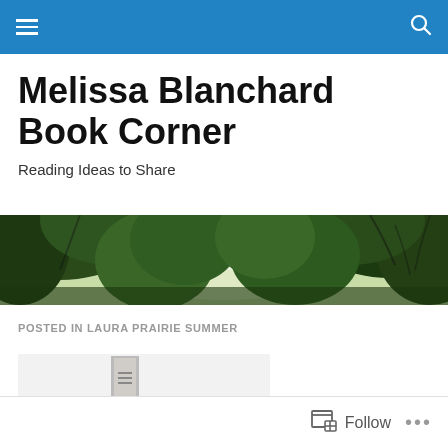Navigation bar with menu and search icons
Melissa Blanchard Book Corner
Reading Ideas to Share
[Figure (photo): Wide banner photograph showing green tree canopy viewed from below against a bright sky]
POSTED IN LAURA PRAIRIE SUMMER
[Figure (photo): Partial view of a book cover on a light gray/white background]
Follow  ...